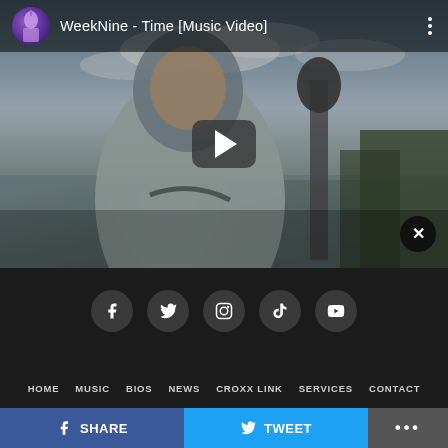[Figure (screenshot): YouTube-style embedded music video player showing 'WeekNine - Time [Music Video]' with a person in a hoodie outdoors near water, play button overlay, channel thumbnail, and close button]
[Figure (infographic): Social media icon row with Facebook, Twitter, Instagram, TikTok, and YouTube circular icons on dark background]
HOME  MUSIC  BIOS  NEWS  CROXX LINK  SERVICES  CONTACT
[Figure (infographic): Bottom share bar with Facebook SHARE button (blue), Twitter TWEET button (light blue), and more options (...)]